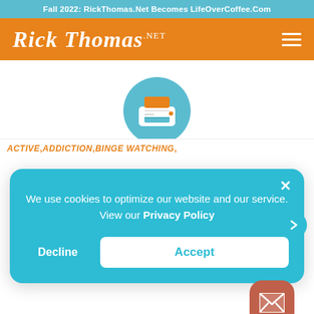Fall 2022: RickThomas.Net Becomes LifeOverCoffee.Com
[Figure (logo): Rick Thomas .net logo in white italic script on orange background, with hamburger menu icon on the right]
[Figure (illustration): Printer icon inside a teal circular background]
We use cookies to optimize our website and our service. View our Privacy Policy
Decline   Accept
ACTIVE,ADDICTION,BINGE WATCHING,